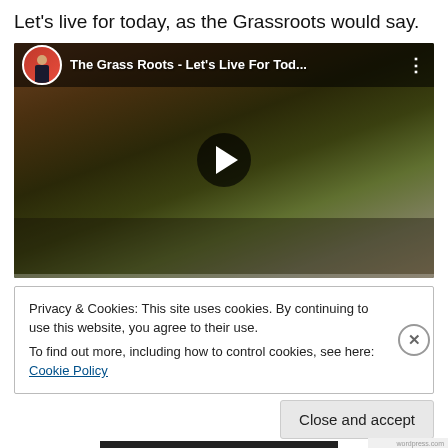Let's live for today, as the Grassroots would say.
[Figure (screenshot): YouTube video embed showing 'The Grass Roots - Let's Live For Tod...' with a thumbnail of the band members near a vintage green truck, with a play button overlay.]
Privacy & Cookies: This site uses cookies. By continuing to use this website, you agree to their use.
To find out more, including how to control cookies, see here: Cookie Policy
Close and accept